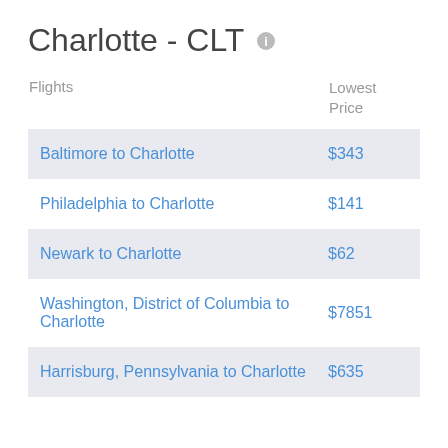Charlotte - CLT
| Flights | Lowest Price |
| --- | --- |
| Baltimore to Charlotte | $343 |
| Philadelphia to Charlotte | $141 |
| Newark to Charlotte | $62 |
| Washington, District of Columbia to Charlotte | $7851 |
| Harrisburg, Pennsylvania to Charlotte | $635 |